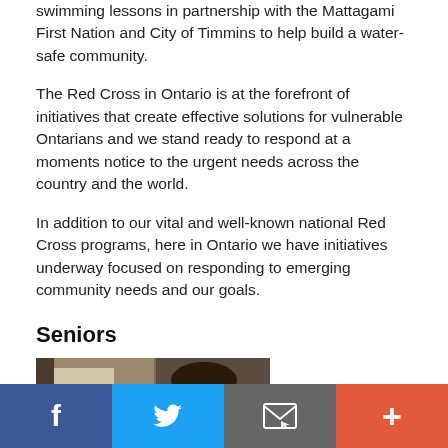swimming lessons in partnership with the Mattagami First Nation and City of Timmins to help build a water-safe community.
The Red Cross in Ontario is at the forefront of initiatives that create effective solutions for vulnerable Ontarians and we stand ready to respond at a moments notice to the urgent needs across the country and the world.
In addition to our vital and well-known national Red Cross programs, here in Ontario we have initiatives underway focused on responding to emerging community needs and our goals.
Seniors
[Figure (photo): Two men greeting each other — an elderly man with glasses and a younger man in a blue shirt]
According to Stats
Facebook | Twitter | Email | Add